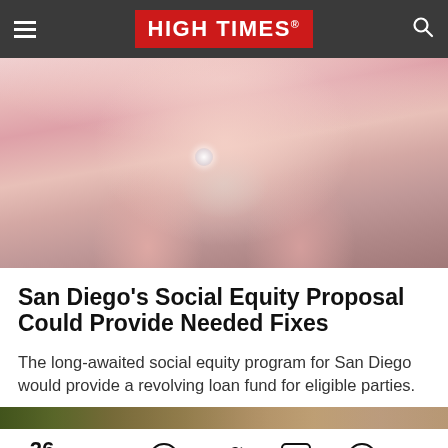HIGH TIMES
[Figure (photo): Close-up photo of a person wearing a pink hoodie, hands raised near face, wearing a ring, in a blurred background]
San Diego’s Social Equity Proposal Could Provide Needed Fixes
The long-awaited social equity program for San Diego would provide a revolving loan fund for eligible parties.
[Figure (photo): Partial strip of a second article image showing blurred outdoor scene]
26 Share